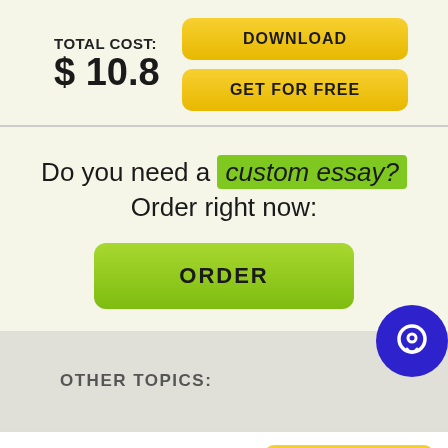TOTAL COST: $ 10.8
DOWNLOAD
GET FOR FREE
Do you need a custom essay? Order right now:
ORDER
OTHER TOPICS:
[Figure (logo): EssayKitchen logo with brown italic 'Essay' and green italic 'Kitchen']
ORDER NOW